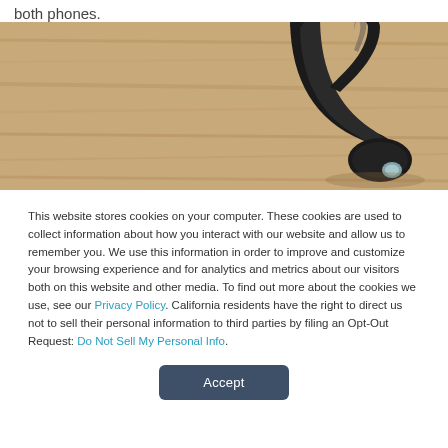both phones.
[Figure (photo): Close-up photograph of a black Bluetooth earpiece/headset with an ear hook, resting on a wooden surface. The device is black with a clear/transparent accent piece visible.]
This website stores cookies on your computer. These cookies are used to collect information about how you interact with our website and allow us to remember you. We use this information in order to improve and customize your browsing experience and for analytics and metrics about our visitors both on this website and other media. To find out more about the cookies we use, see our Privacy Policy. California residents have the right to direct us not to sell their personal information to third parties by filing an Opt-Out Request: Do Not Sell My Personal Info.
Accept